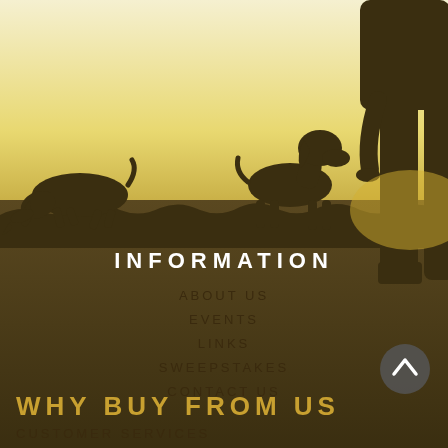[Figure (illustration): Silhouette scene at sunset/dusk: a dog running low to the left carrying something in mouth, a standing dog in the center, tall grass ground line, and a person's legs visible on the right side. Sky has a warm yellow-cream gradient fading to golden near the horizon.]
INFORMATION
ABOUT US
EVENTS
LINKS
SWEEPSTAKES
CONTACT US
WHY BUY FROM US
CUSTOMER SERVICES